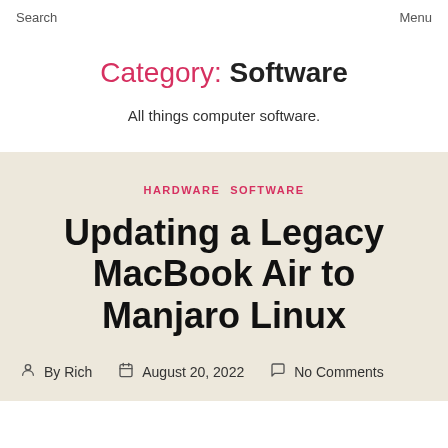Search    Menu
Category: Software
All things computer software.
HARDWARE  SOFTWARE
Updating a Legacy MacBook Air to Manjaro Linux
By Rich   August 20, 2022   No Comments